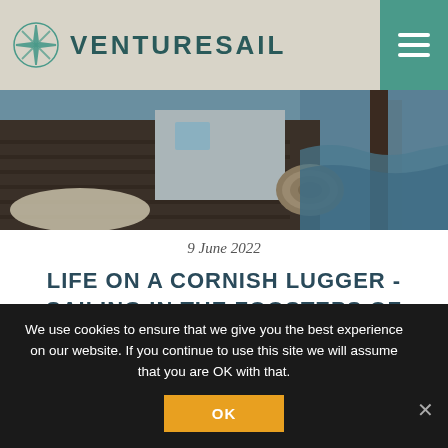VENTURESAIL
[Figure (photo): Close-up photo of a wooden boat deck showing coiled ropes, wooden planks, sails, and a glimpse of blue sea]
9 June 2022
LIFE ON A CORNISH LUGGER - SAILING IN THE FOOSTEPS OF SMUGGLERS
Read more
We use cookies to ensure that we give you the best experience on our website. If you continue to use this site we will assume that you are OK with that.
OK